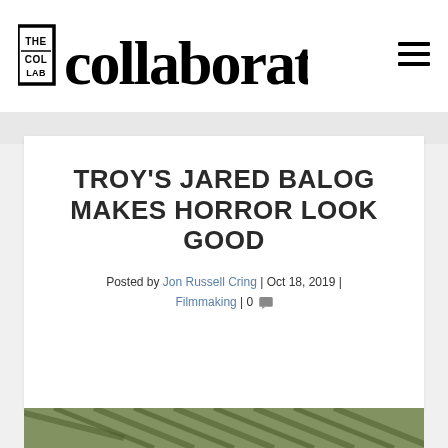[Figure (logo): The Collaborative logo with 'THE' in a bordered box and 'collaborative' in large serif text, plus hamburger menu icon on the right]
TROY'S JARED BALOG MAKES HORROR LOOK GOOD
Posted by Jon Russell Cring | Oct 18, 2019 | Filmmaking | 0
[Figure (photo): Partial view of a wooden roof structure with rafters, outdoor setting with green foliage visible]